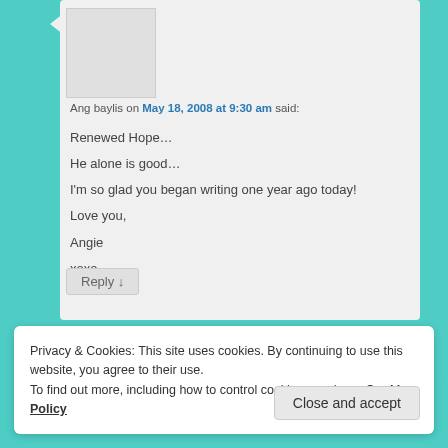Ang baylis on May 18, 2008 at 9:30 am said:
Renewed Hope…
He alone is good…
I'm so glad you began writing one year ago today!
Love you,
Angie
xoxo
Reply ↓
Privacy & Cookies: This site uses cookies. By continuing to use this website, you agree to their use. To find out more, including how to control cookies, see here: Cookie Policy
Close and accept